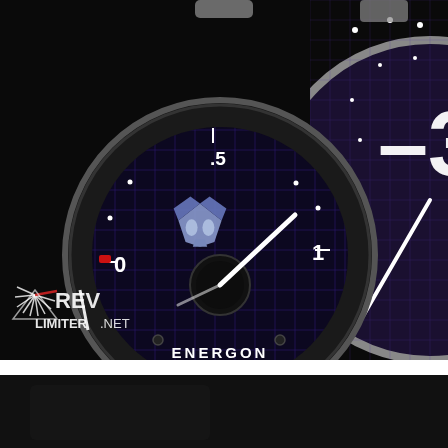[Figure (photo): Close-up photograph of a custom Transformers Decepticon themed car gauge cluster. The main gauge is labeled 'ENERGON' on a dark blue grid-patterned face with a Decepticon logo in the center. The gauge shows markings of 0, .5, and 1, with a red indicator near 0 and a white needle pointing toward 1. To the bottom left is a watermark logo reading 'REV LIMITER.NET' with a stylized speedometer needle graphic. To the right is a partial view of another gauge (tachometer) showing the number 3 on a similar dark blue grid background.]
[Figure (photo): Bottom black strip, partial view of another dark panel/gauge cluster image beginning to appear.]